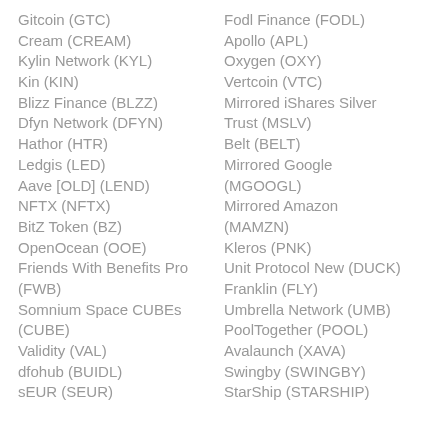Gitcoin (GTC)
Cream (CREAM)
Kylin Network (KYL)
Kin (KIN)
Blizz Finance (BLZZ)
Dfyn Network (DFYN)
Hathor (HTR)
Ledgis (LED)
Aave [OLD] (LEND)
NFTX (NFTX)
BitZ Token (BZ)
OpenOcean (OOE)
Friends With Benefits Pro (FWB)
Somnium Space CUBEs (CUBE)
Validity (VAL)
dfohub (BUIDL)
sEUR (SEUR)
Fodl Finance (FODL)
Apollo (APL)
Oxygen (OXY)
Vertcoin (VTC)
Mirrored iShares Silver Trust (MSLV)
Belt (BELT)
Mirrored Google (MGOOGL)
Mirrored Amazon (MAMZN)
Kleros (PNK)
Unit Protocol New (DUCK)
Franklin (FLY)
Umbrella Network (UMB)
PoolTogether (POOL)
Avalaunch (XAVA)
Swingby (SWINGBY)
StarShip (STARSHIP)